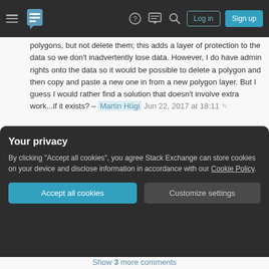Stack Exchange navigation header with hamburger menu, logo, icons (help, chat, search), Log in and Sign up buttons
polygons, but not delete them; this adds a layer of protection to the data so we don't inadvertently lose data. However, I do have admin rights onto the data so it would be possible to delete a polygon and then copy and paste a new one in from a new polygon layer. But I guess I would rather find a solution that doesn't involve extra work...if it exists? – Martin Hügi Jun 22, 2017 at 18:11
1 Ok, I get it. So, you would prefer to directly edit the geometries and apply the changes directly to the original layer. If I find a solution, I will share it. – mgri Jun 22, 2017 at 18:26
Your privacy
By clicking "Accept all cookies", you agree Stack Exchange can store cookies on your device and disclose information in accordance with our Cookie Policy.
Accept all cookies
Customize settings
Show 3 more comments